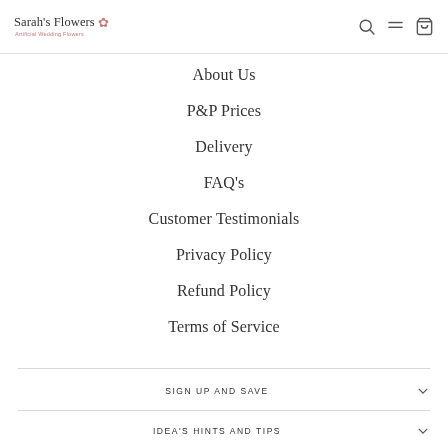Sarah's Flowers — Artificial Wedding Flowers
About Us
P&P Prices
Delivery
FAQ's
Customer Testimonials
Privacy Policy
Refund Policy
Terms of Service
SIGN UP AND SAVE
IDEA'S HINTS AND TIPS